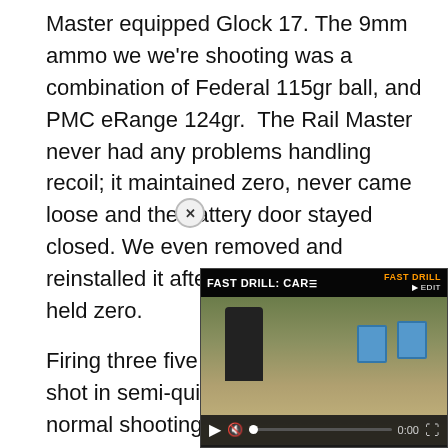Master equipped Glock 17. The 9mm ammo we we're shooting was a combination of Federal 115gr ball, and PMC eRange 124gr.  The Rail Master never had any problems handling recoil; it maintained zero, never came loose and the battery door stayed closed. We even removed and reinstalled it after 130 rounds and it held zero.
Firing three five round groups with each shot in semi-quick succession from our normal shooting stance, but ignoring the irons sights and using the Rail Master's dot for aiming from 25 feet. From 10 feet one handed equaled cons hits with the Rail Master's
[Figure (screenshot): Embedded video player overlay showing 'FAST DRILL: CAR' with a scene of a shooter at a range targeting blue silhouettes, with playback controls at 0:00 and a close (x) button.]